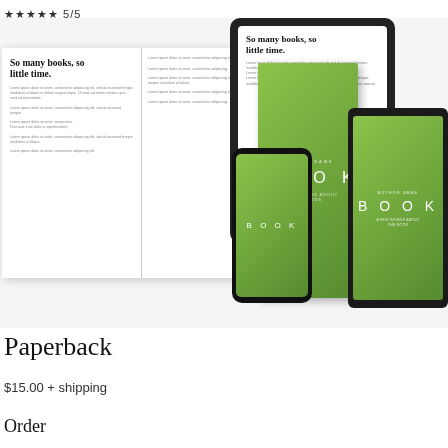★★★★★ 5/5
[Figure (illustration): Product image showing an open book, a tablet, a green hardcover book, a smartphone, and an e-reader (Kindle), all displaying or representing the same book titled 'So many books, so little time.' The devices show book covers in green with 'BOOK' lettering.]
Paperback
$15.00 + shipping
Order